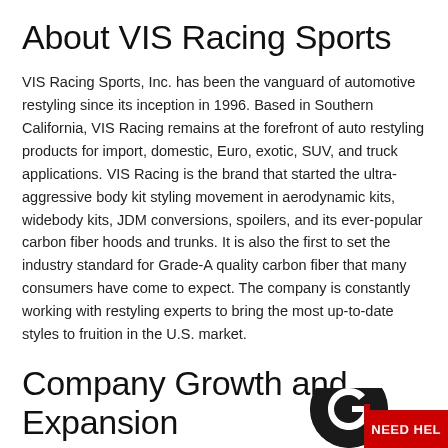About VIS Racing Sports
VIS Racing Sports, Inc. has been the vanguard of automotive restyling since its inception in 1996. Based in Southern California, VIS Racing remains at the forefront of auto restyling products for import, domestic, Euro, exotic, SUV, and truck applications. VIS Racing is the brand that started the ultra-aggressive body kit styling movement in aerodynamic kits, widebody kits, JDM conversions, spoilers, and its ever-popular carbon fiber hoods and trunks. It is also the first to set the industry standard for Grade-A quality carbon fiber that many consumers have come to expect. The company is constantly working with restyling experts to bring the most up-to-date styles to fruition in the U.S. market.
Company Growth and Expansion
VIS Racing has undergone several stages of gro... most drastic being the one it experienced in 2004. Th...